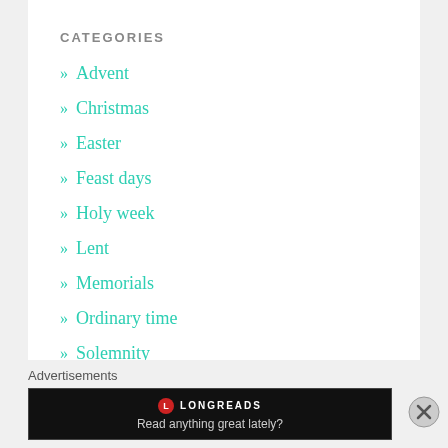CATEGORIES
» Advent
» Christmas
» Easter
» Feast days
» Holy week
» Lent
» Memorials
» Ordinary time
» Solemnity
» Special days
Advertisements
[Figure (other): Longreads advertisement banner: logo with red circle L, text LONGREADS, tagline 'Read anything great lately?']